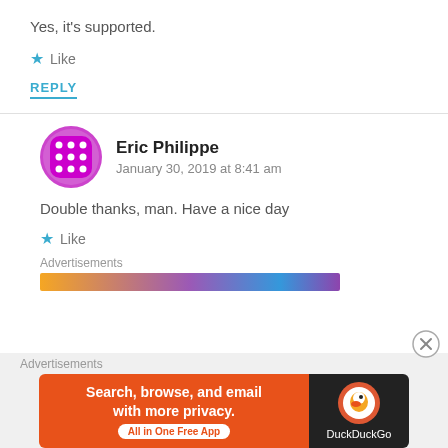Yes, it's supported.
★ Like
REPLY
Eric Philippe
January 30, 2019 at 8:41 am
Double thanks, man. Have a nice day
★ Like
Advertisements
[Figure (other): Colorful advertisement banner strip]
Advertisements
[Figure (other): DuckDuckGo advertisement: Search, browse, and email with more privacy. All in One Free App]